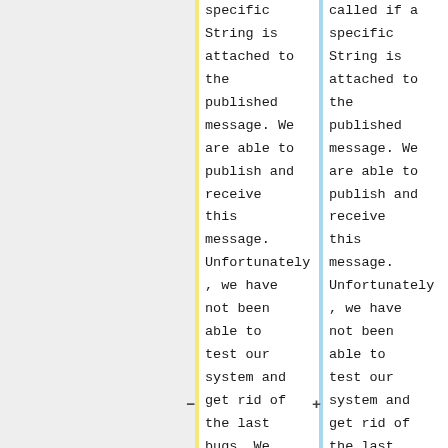specific String is attached to the published message. We are able to publish and receive this message. Unfortunately, we have not been able to test our system and get rid of the last bugs. We are confident
called if a specific String is attached to the published message. We are able to publish and receive this message. Unfortunately, we have not been able to test our system and get rid of the last bugs. We are